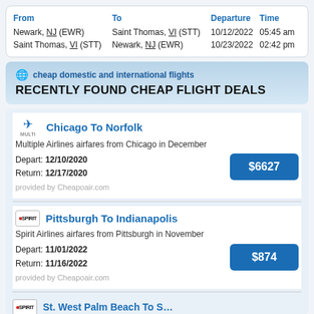| From | To | Departure | Time |
| --- | --- | --- | --- |
| Newark, NJ (EWR) | Saint Thomas, VI (STT) | 10/12/2022 | 05:45 am |
| Saint Thomas, VI (STT) | Newark, NJ (EWR) | 10/23/2022 | 02:42 pm |
cheap domestic and international flights
RECENTLY FOUND CHEAP FLIGHT DEALS
Chicago To Norfolk
Multiple Airlines airfares from Chicago in December
Depart: 12/10/2020
Return: 12/17/2020
$6627
provided by Cheapoair.com
Pittsburgh To Indianapolis
Spirit Airlines airfares from Pittsburgh in November
Depart: 11/01/2022
Return: 11/16/2022
$874
provided by Cheapoair.com